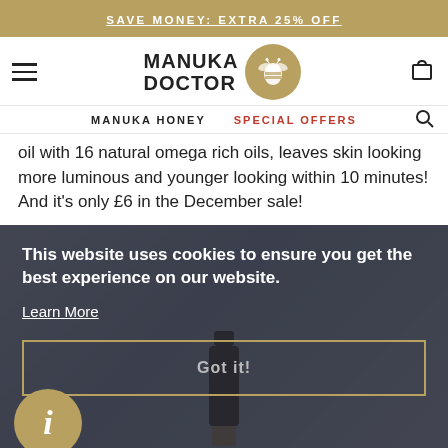SAVE MONEY: EXTRA 25% OFF
[Figure (logo): Manuka Doctor logo with bee icon in gold circle]
MANUKA HONEY   SPECIAL OFFERS
oil with 16 natural omega rich oils, leaves skin looking more luminous and younger looking within 10 minutes! And it's only £6 in the December sale!
[Figure (screenshot): Cookie consent overlay on Manuka Doctor website product page. Dark overlay with text: This website uses cookies to ensure you get the best experience on our website. Learn More link. Got it! button. Gold info circle icon bottom left. Product bottle partially visible in background.]